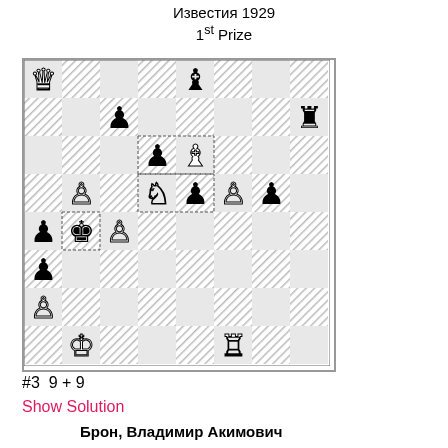Известия 1929
1st Prize
[Figure (illustration): Chess problem diagram showing an 8x8 chess board with pieces. White pieces and black pieces arranged for a chess composition problem.]
#3  9 + 9
Show Solution
Брон, Владимир Акимович